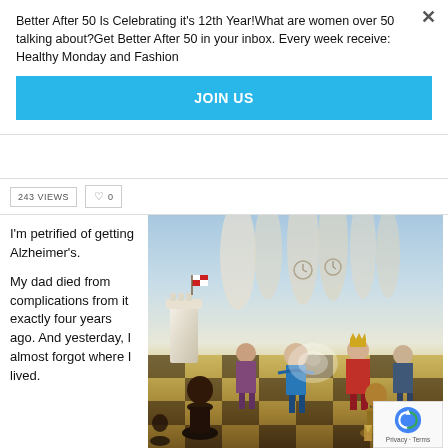Better After 50 Is Celebrating it's 12th Year!What are women over 50 talking about?Get Better After 50 in your inbox. Every week receive: Healthy Monday and Fashion
JOIN US
243 VIEWS
♡ 0
I'm petrified of getting Alzheimer's.
My dad died from complications from it exactly four years ago. And yesterday, I almost forgot where I lived.
[Figure (illustration): Surrealist painting of human-sized chess pieces on a chessboard with large ornate chess piece structures in the background, clock-faced columns, a person in blue coat, figures in medieval dress, and a reCAPTCHA badge overlay in the bottom right.]